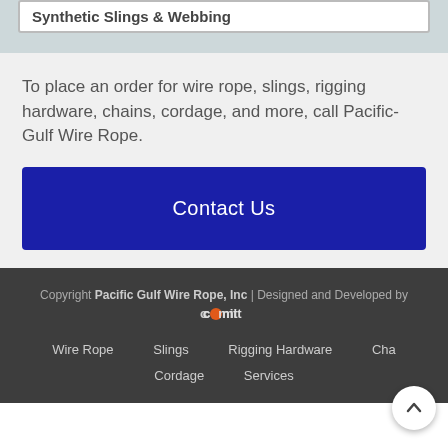Synthetic Slings & Webbing
To place an order for wire rope, slings, rigging hardware, chains, cordage, and more, call Pacific-Gulf Wire Rope.
Contact Us
Copyright Pacific Gulf Wire Rope, Inc | Designed and Developed by Comit
Wire Rope
Slings
Rigging Hardware
Cha...
Cordage
Services